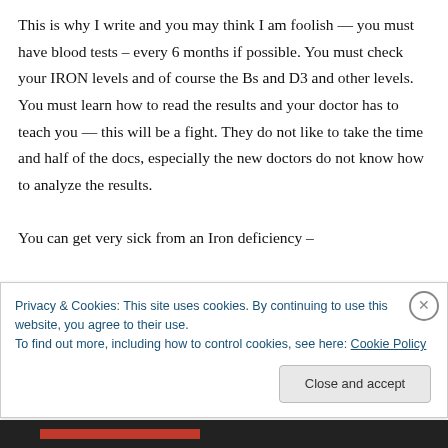This is why I write and you may think I am foolish — you must have blood tests – every 6 months if possible. You must check your IRON levels and of course the Bs and D3 and other levels. You must learn how to read the results and your doctor has to teach you — this will be a fight. They do not like to take the time and half of the docs, especially the new doctors do not know how to analyze the results.

You can get very sick from an Iron deficiency –
Privacy & Cookies: This site uses cookies. By continuing to use this website, you agree to their use.
To find out more, including how to control cookies, see here: Cookie Policy